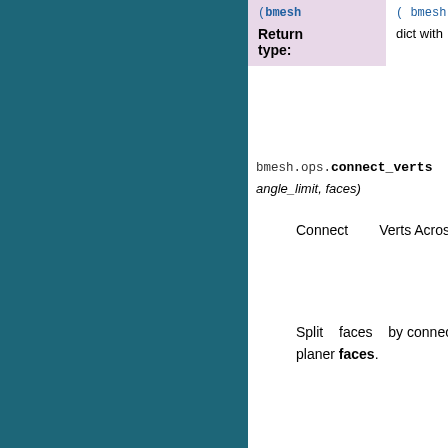| Return type: |  |
| --- | --- |
|  | dict with |
bmesh.ops.connect_verts_across(angle_limit, faces)
Connect Verts Across non Planer Faces.
Split faces by connecting edges along non planer faces.
| Parameters: |  |
| --- | --- |
|  | bm (bmesh... – The opera...
angle... total (radia... |